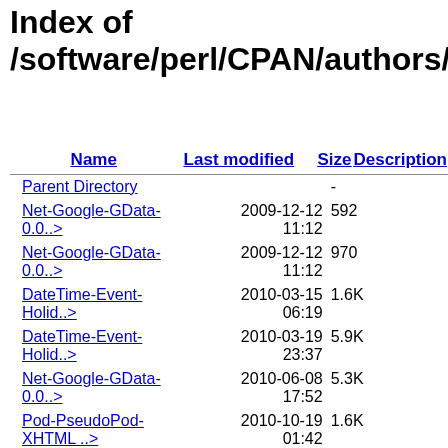Index of /software/perl/CPAN/authors/id/
| Name | Last modified | Size | Description |
| --- | --- | --- | --- |
| Parent Directory |  | - |  |
| Net-Google-GData-0.0..> | 2009-12-12 11:12 | 592 |  |
| Net-Google-GData-0.0..> | 2009-12-12 11:12 | 970 |  |
| DateTime-Event-Holid..> | 2010-03-15 06:19 | 1.6K |  |
| DateTime-Event-Holid..> | 2010-03-19 23:37 | 5.9K |  |
| Net-Google-GData-0.0..> | 2010-06-08 17:52 | 5.3K |  |
| Pod-PseudoPod-XHTML ..> | 2010-10-19 01:42 | 1.6K |  |
| Pod-PseudoPod-XHTML ..> | 2010-10-19 03:21 | 5.3K |  |